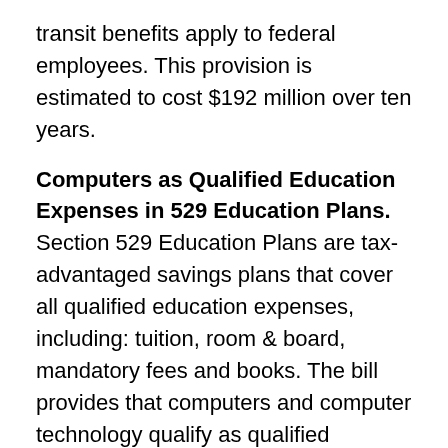transit benefits apply to federal employees. This provision is estimated to cost $192 million over ten years.
Computers as Qualified Education Expenses in 529 Education Plans. Section 529 Education Plans are tax-advantaged savings plans that cover all qualified education expenses, including: tuition, room & board, mandatory fees and books. The bill provides that computers and computer technology qualify as qualified education expenses. This proposal is estimated to cost $6 million over 10 years.
“American Opportunity” Education Tax Credit. The bill would provide financial assistance for individuals seeking a college education. For 2009 and 2010, the bill would provide taxpayers with a new “American Opportunity” tax credit of up to $2,500 of the cost of tuition and related